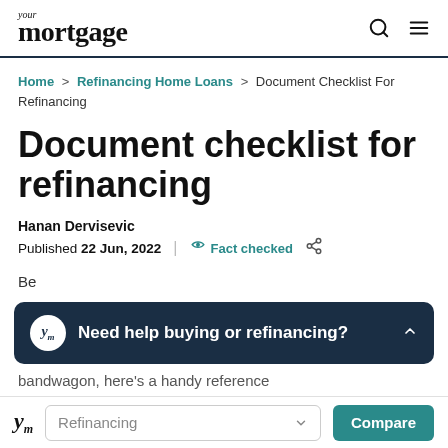your mortgage
Home > Refinancing Home Loans > Document Checklist For Refinancing
Document checklist for refinancing
Hanan Dervisevic
Published 22 Jun, 2022 | Fact checked
Need help buying or refinancing?
Be... bandwagon, here's a handy reference
Refinancing Compare